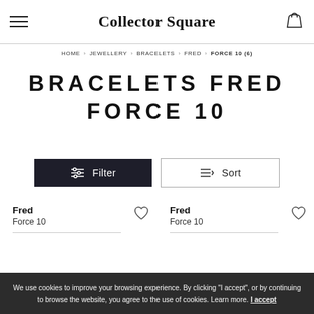Collector Square
HOME > JEWELLERY > BRACELETS > FRED > FORCE 10 (6)
BRACELETS FRED FORCE 10
Filter
Sort
Fred
Force 10
Fred
Force 10
We use cookies to improve your browsing experience. By clicking "I accept", or by continuing to browse the website, you agree to the use of cookies. Learn more. I accept